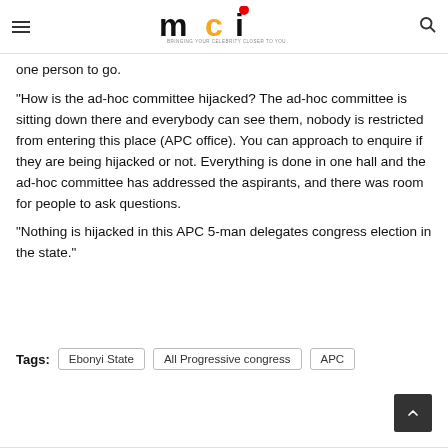MCI – Bringing your celebrity closer to you
one person to go.
“How is the ad-hoc committee hijacked? The ad-hoc committee is sitting down there and everybody can see them, nobody is restricted from entering this place (APC office). You can approach to enquire if they are being hijacked or not. Everything is done in one hall and the ad-hoc committee has addressed the aspirants, and there was room for people to ask questions.
“Nothing is hijacked in this APC 5-man delegates congress election in the state.”
Tags: Ebonyi State   All Progressive congress   APC